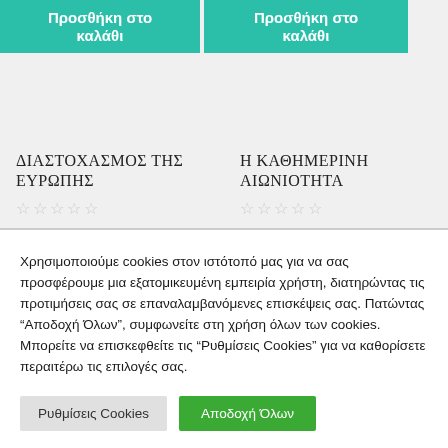Προσθήκη στο καλάθι
Προσθήκη στο καλάθι
ΔΙΑΣΤΟΧΑΣΜΟΣ ΤΗΣ ΕΥΡΩΠΗΣ
Η ΚΑΘΗΜΕΡΙΝΗ ΑΙΩΝΙΟΤΗΤΑ
Χρησιμοποιούμε cookies στον ιστότοπό μας για να σας προσφέρουμε μια εξατομικευμένη εμπειρία χρήστη, διατηρώντας τις προτιμήσεις σας σε επαναλαμβανόμενες επισκέψεις σας. Πατώντας "Αποδοχή Όλων", συμφωνείτε στη χρήση όλων των cookies. Μπορείτε να επισκεφθείτε τις "Ρυθμίσεις Cookies" για να καθορίσετε περαιτέρω τις επιλογές σας.
Ρυθμίσεις Cookies
Αποδοχή Όλων